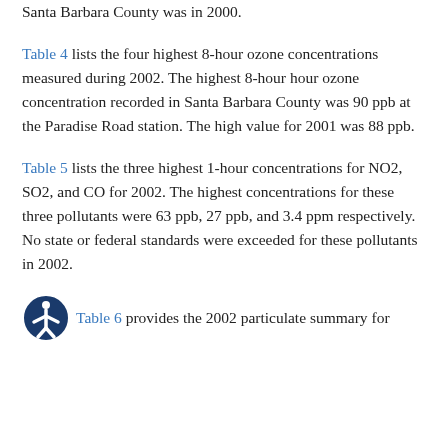Santa Barbara County was in 2000.
Table 4 lists the four highest 8-hour ozone concentrations measured during 2002. The highest 8-hour hour ozone concentration recorded in Santa Barbara County was 90 ppb at the Paradise Road station. The high value for 2001 was 88 ppb.
Table 5 lists the three highest 1-hour concentrations for NO2, SO2, and CO for 2002. The highest concentrations for these three pollutants were 63 ppb, 27 ppb, and 3.4 ppm respectively. No state or federal standards were exceeded for these pollutants in 2002.
Table 6 provides the 2002 particulate summary for